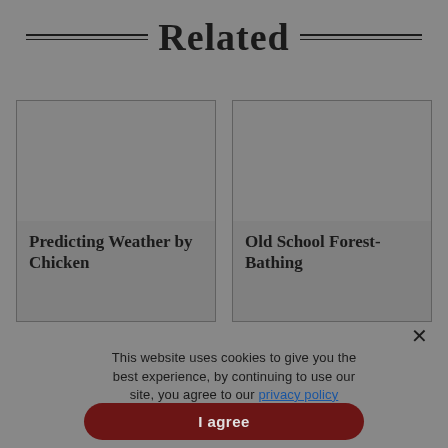Related
[Figure (other): Placeholder image for article card: Predicting Weather by Chicken]
Predicting Weather by Chicken
[Figure (other): Placeholder image for article card: Old School Forest-Bathing]
Old School Forest-Bathing
This website uses cookies to give you the best experience, by continuing to use our site, you agree to our privacy policy
I agree